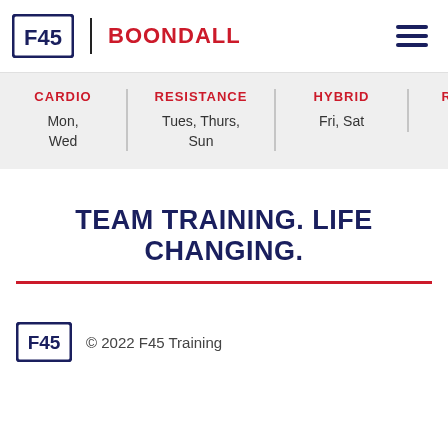F45 | BOONDALL
| CARDIO | RESISTANCE | HYBRID | RECOV... |
| --- | --- | --- | --- |
| Mon, Wed | Tues, Thurs, Sun | Fri, Sat | Mon – |
TEAM TRAINING. LIFE CHANGING.
© 2022 F45 Training